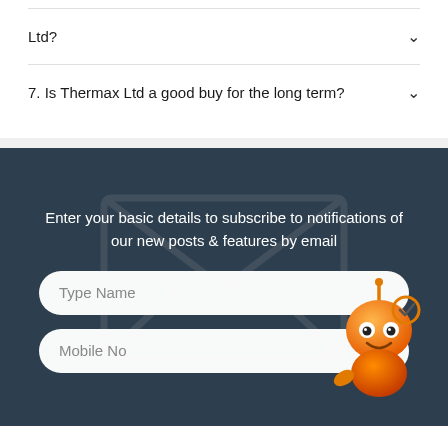Ltd?
7. Is Thermax Ltd a good buy for the long term?
Enter your basic details to subscribe to notifications of our new posts & features by email
Type Name
Mobile No